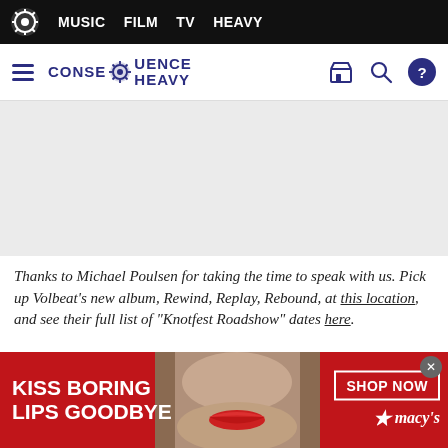MUSIC  FILM  TV  HEAVY
CONSEQUENCE HEAVY
[Figure (photo): Gray advertisement placeholder area]
Thanks to Michael Poulsen for taking the time to speak with us. Pick up Volbeat's new album, Rewind, Replay, Rebound, at this location, and see their full list of "Knotfest Roadshow" dates here.
[Figure (photo): Bottom advertisement banner: KISS BORING LIPS GOODBYE - SHOP NOW - Macy's, with photo of woman with red lips]